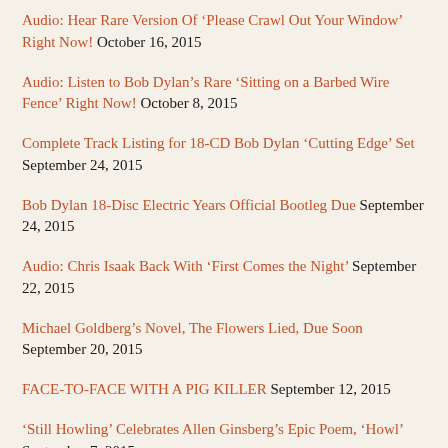Audio: Hear Rare Version Of ‘Please Crawl Out Your Window’ Right Now! October 16, 2015
Audio: Listen to Bob Dylan’s Rare ‘Sitting on a Barbed Wire Fence’ Right Now! October 8, 2015
Complete Track Listing for 18-CD Bob Dylan ‘Cutting Edge’ Set September 24, 2015
Bob Dylan 18-Disc Electric Years Official Bootleg Due September 24, 2015
Audio: Chris Isaak Back With ‘First Comes the Night’ September 22, 2015
Michael Goldberg’s Novel, The Flowers Lied, Due Soon September 20, 2015
FACE-TO-FACE WITH A PIG KILLER September 12, 2015
‘Still Howling’ Celebrates Allen Ginsberg’s Epic Poem, ‘Howl’ September 7, 2015
Video: The Path To Animal Liberation July 23, 2015
Video: Grateful Dead Live In Santa Clara 2015 – Four-Plus Hours –